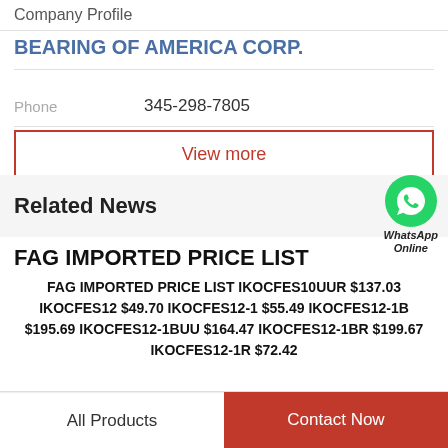Company Profile
BEARING OF AMERICA CORP.
Phone    345-298-7805
View more
Related News
FAG IMPORTED PRICE LIST
FAG IMPORTED PRICE LIST IKOCFES10UUR $137.03 IKOCFES12 $49.70 IKOCFES12-1 $55.49 IKOCFES12-1B $195.69 IKOCFES12-1BUU $164.47 IKOCFES12-1BR $199.67 IKOCFES12-1R $72.42
All Products   Contact Now